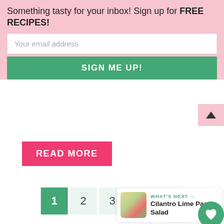Something tasty for your inbox! Sign up for FREE RECIPES!
Your email address
SIGN ME UP!
READ MORE
1  2  3  Next →
[Figure (screenshot): Pagination row with page 1 active (green), pages 2, 3, and Next → button]
[Figure (photo): Circular portrait photo of a smiling young woman with blonde wavy hair, standing in front of flowering plants]
WHAT'S NEXT → Cilantro Lime Pasta Salad